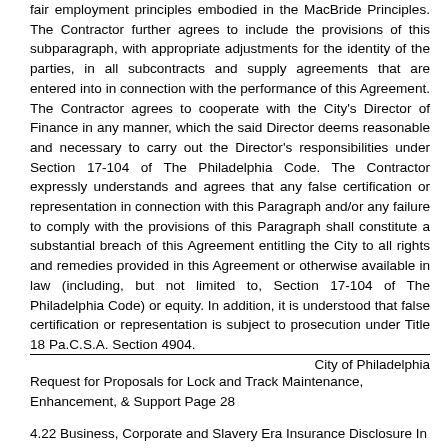fair employment principles embodied in the MacBride Principles. The Contractor further agrees to include the provisions of this subparagraph, with appropriate adjustments for the identity of the parties, in all subcontracts and supply agreements that are entered into in connection with the performance of this Agreement. The Contractor agrees to cooperate with the City's Director of Finance in any manner, which the said Director deems reasonable and necessary to carry out the Director's responsibilities under Section 17-104 of The Philadelphia Code. The Contractor expressly understands and agrees that any false certification or representation in connection with this Paragraph and/or any failure to comply with the provisions of this Paragraph shall constitute a substantial breach of this Agreement entitling the City to all rights and remedies provided in this Agreement or otherwise available in law (including, but not limited to, Section 17-104 of The Philadelphia Code) or equity. In addition, it is understood that false certification or representation is subject to prosecution under Title 18 Pa.C.S.A. Section 4904.
City of Philadelphia Request for Proposals for Lock and Track Maintenance, Enhancement, & Support Page 28
4.22 Business, Corporate and Slavery Era Insurance Disclosure In